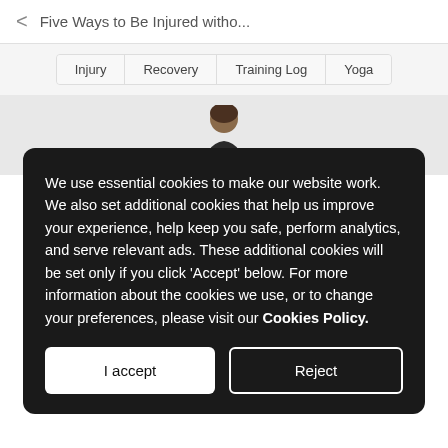< Five Ways to Be Injured witho...
Injury
Recovery
Training Log
Yoga
[Figure (photo): Person silhouette/photo partially visible behind cookie consent dialog]
We use essential cookies to make our website work. We also set additional cookies that help us improve your experience, help keep you safe, perform analytics, and serve relevant ads. These additional cookies will be set only if you click 'Accept' below. For more information about the cookies we use, or to change your preferences, please visit our Cookies Policy.
I accept
Reject